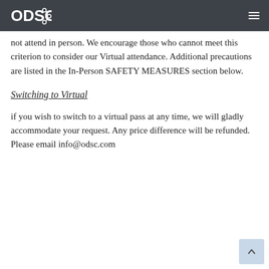ODSC [logo]
not attend in person. We encourage those who cannot meet this criterion to consider our Virtual attendance. Additional precautions are listed in the In-Person SAFETY MEASURES section below.
Switching to Virtual
if you wish to switch to a virtual pass at any time, we will gladly accommodate your request. Any price difference will be refunded.  Please email info@odsc.com